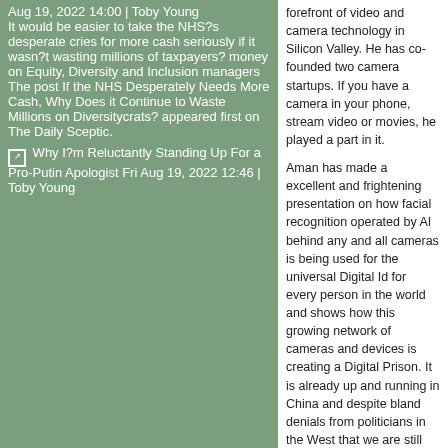Aug 19, 2022 14:00 | Toby Young
It would be easier to take the NHS?s desperate cries for more cash seriously if it wasn?t wasting millions of taxpayers? money on Equity, Diversity and Inclusion managers
The post If the NHS Desperately Needs More Cash, Why Does it Continue to Waste Millions on Diversitycrats? appeared first on The Daily Sceptic.
Why I?m Reluctantly Standing Up For a Pro-Putin Apologist Fri Aug 19, 2022 12:46 | Toby Young
forefront of video and camera technology in Silicon Valley. He has co-founded two camera startups. If you have a camera in your phone, stream video or movies, he played a part in it.
Aman has made a excellent and frightening presentation on how facial recognition operated by AI behind any and all cameras is being used for the universal Digital Id for every person in the world and shows how this growing network of cameras and devices is creating a Digital Prison. It is already up and running in China and despite bland denials from politicians in the West that we are still free, he shows this is anything but the case and very importantly shows the scale of the rollout and the capability of these cameras and sensors as part of the "Smart Cities" drive.
read full story / add a comment
Funeral Home Whistleblower: Hospitals Are Covering Up Baby Vaccine Deaths By Cremating Babies Themselves
[Figure (screenshot): Thumbnail screenshot of a video showing two people in what appears to be a broadcast or interview setting, with a dark background and on-screen graphics.]